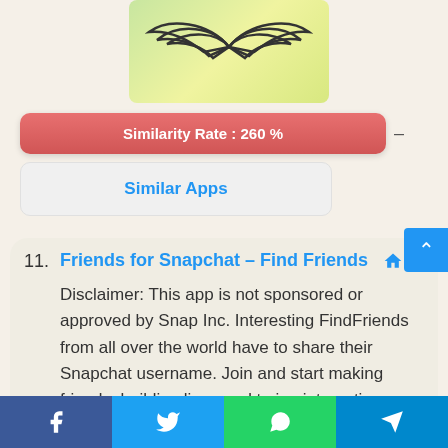[Figure (illustration): App icon with wings/ghost design on green-yellow gradient background]
Similarity Rate : 260 %  –
Similar Apps
11. Friends for Snapchat – Find Friends  🏠
Disclaimer: This app is not sponsored or approved by Snap Inc. Interesting FindFriends from all over the world have to share their Snapchat username. Join and start making friends, building lines and trying interesting